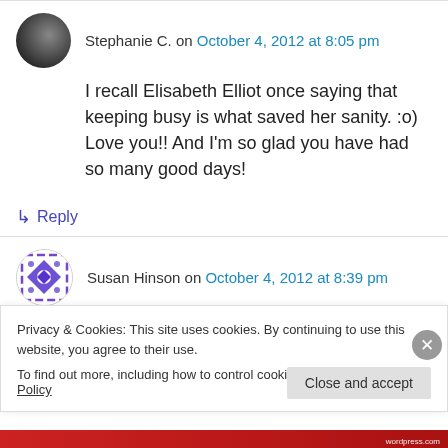Stephanie C. on October 4, 2012 at 8:05 pm
I recall Elisabeth Elliot once saying that keeping busy is what saved her sanity. :o) Love you!! And I'm so glad you have had so many good days!
↳ Reply
Susan Hinson on October 4, 2012 at 8:39 pm
Privacy & Cookies: This site uses cookies. By continuing to use this website, you agree to their use. To find out more, including how to control cookies, see here: Cookie Policy
Close and accept